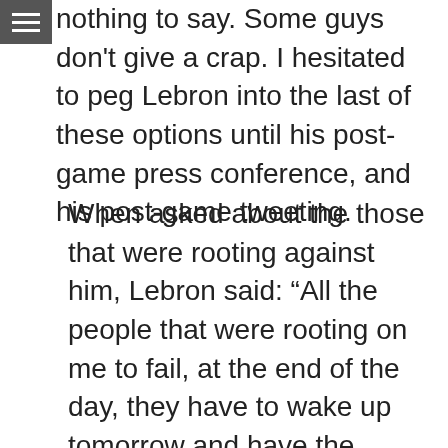nothing to say. Some guys don't give a crap. I hesitated to peg Lebron into the last of these options until his post-game press conference, and his post-game tweeting.
When asked about the those that were rooting against him, Lebron said: “All the people that were rooting on me to fail, at the end of the day, they have to wake up tomorrow and have the same life that they had before they woke up today. They have the same personal problems they had today. I’m going to continue to live the way I want to live and continue to do the things that I want to do with me and my family and be happy